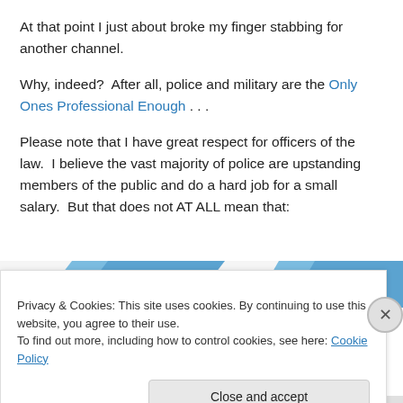At that point I just about broke my finger stabbing for another channel.
Why, indeed?  After all, police and military are the Only Ones Professional Enough . . .
Please note that I have great respect for officers of the law.  I believe the vast majority of police are upstanding members of the public and do a hard job for a small salary.  But that does not AT ALL mean that:
[Figure (screenshot): Partial screenshot of a website header/banner with blue diagonal design elements]
Privacy & Cookies: This site uses cookies. By continuing to use this website, you agree to their use.
To find out more, including how to control cookies, see here: Cookie Policy
Close and accept
[Figure (screenshot): Bottom bar with red and black color segments, partial website footer]